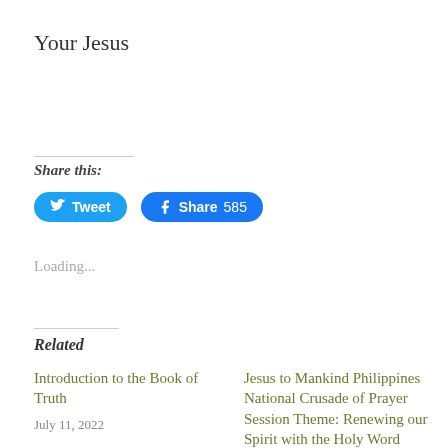Your Jesus
Share this:
Tweet  Share 585
Loading...
Related
Introduction to the Book of Truth
July 11, 2022
Jesus to Mankind Philippines National Crusade of Prayer Session Theme: Renewing our Spirit with the Holy Word